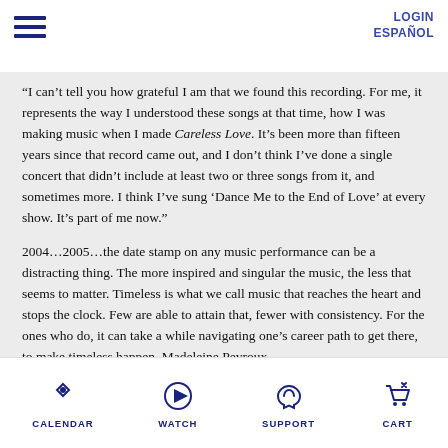LOGIN  ESPAÑOL
“I can’t tell you how grateful I am that we found this recording. For me, it represents the way I understood these songs at that time, how I was making music when I made Careless Love. It’s been more than fifteen years since that record came out, and I don’t think I’ve done a single concert that didn’t include at least two or three songs from it, and sometimes more. I think I’ve sung ‘Dance Me to the End of Love’ at every show. It’s part of me now.”
2004...2005...the date stamp on any music performance can be a distracting thing. The more inspired and singular the music, the less that seems to matter. Timeless is what we call music that reaches the heart and stops the clock. Few are able to attain that, fewer with consistency. For the ones who do, it can take a while navigating one’s career path to get there, to make timeless happen. Madeleine Peyroux
CALENDAR  WATCH  SUPPORT  CART